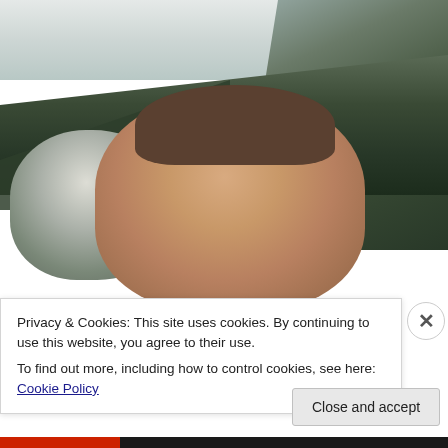[Figure (photo): Outdoor selfie photo of a man with brown hair, squinting/smiling, taken in a snowy mountain setting with conifer forest and rocky terrain in the background. Snow visible on rocks and trees.]
Privacy & Cookies: This site uses cookies. By continuing to use this website, you agree to their use.
To find out more, including how to control cookies, see here: Cookie Policy
Close and accept